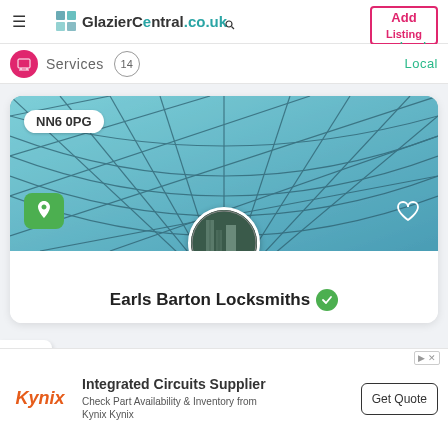GlazierCentral.co.uk — Add Listing
Services  14  Local
[Figure (screenshot): Glazier Central listing card for Earls Barton Locksmiths showing a glass ceiling photo with NN6 0PG postcode badge, map pin button, heart icon, and circular avatar]
Earls Barton Locksmiths
[Figure (advertisement): Kynix advertisement banner: Integrated Circuits Supplier — Check Part Availability & Inventory from Kynix Kynix — Get Quote button]